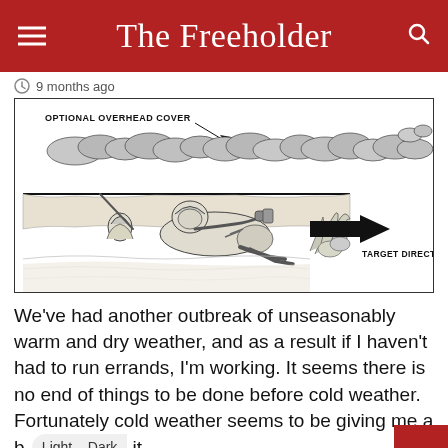The Freeholder
9 months ago
[Figure (illustration): Military field manual illustration showing a soldier in prone position behind a ground plane berm with vegetation cover above. Labels read: OPTIONAL OVERHEAD COVER (top), GROUND PLANE (left), TARGET DIRECTION with arrow pointing right (bottom right).]
We’ve had another outbreak of unseasonably warm and dry weather, and as a result if I haven’t had to run errands, I’m working. It seems there is no end of things to be done before cold weather. Fortunately cold weather seems to be giving me a b it.